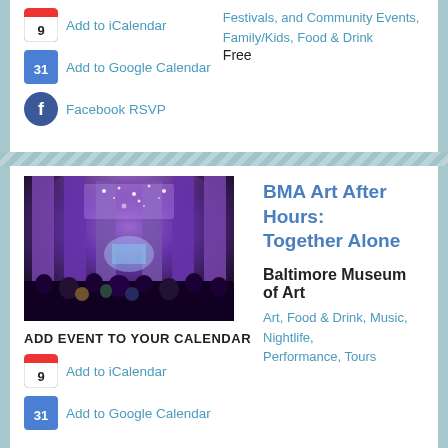Add to iCalendar
Add to Google Calendar
Facebook RSVP
Festivals, and Community Events, Family/Kids, Food & Drink
Free
[Figure (photo): Interior of a museum hall with tall columns lit in purple light, people gathered in foreground]
BMA Art After Hours: Together Alone
Baltimore Museum of Art
Art, Food & Drink, Music, Nightlife, Performance, Tours
ADD EVENT TO YOUR CALENDAR
Add to iCalendar
Add to Google Calendar